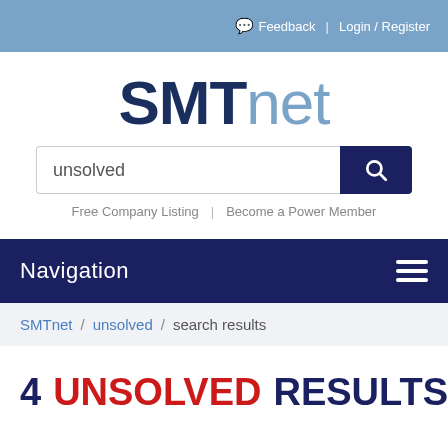Feedback | Login / Register
SMTnet
unsolved [search input]
Free Company Listing | Become a Power Member
Navigation
SMTnet / unsolved / search results
4 UNSOLVED RESULTS